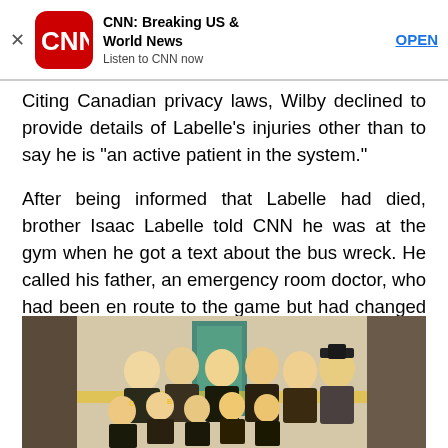[Figure (screenshot): CNN Breaking US & World News app advertisement banner with CNN logo, title, subtitle 'Listen to CNN now', and OPEN button]
Citing Canadian privacy laws, Wilby declined to provide details of Labelle’s injuries other than to say he is “an active patient in the system.”
After being informed that Labelle had died, brother Isaac Labelle told CNN he was at the gym when he got a text about the bus wreck. He called his father, an emergency room doctor, who had been en route to the game but had changed course to the crash site.
[Figure (photo): Group photo of hockey players and staff in a locker room, wearing black and yellow uniforms, posing together]